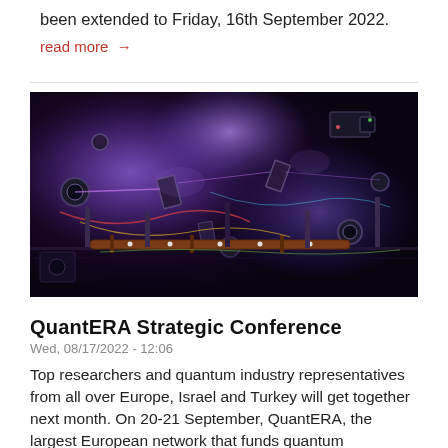been extended to Friday, 16th September 2022.
read more →
[Figure (photo): Overhead view of a complex quantum optics laboratory setup with numerous optical components, mirrors, lenses, lasers, and wiring on an optical table illuminated with purple and blue light.]
QuantERA Strategic Conference
Wed, 08/17/2022 - 12:06
Top researchers and quantum industry representatives from all over Europe, Israel and Turkey will get together next month. On 20-21 September, QuantERA, the largest European network that funds quantum technology research and innovation, is scheduled to hold a Strategic